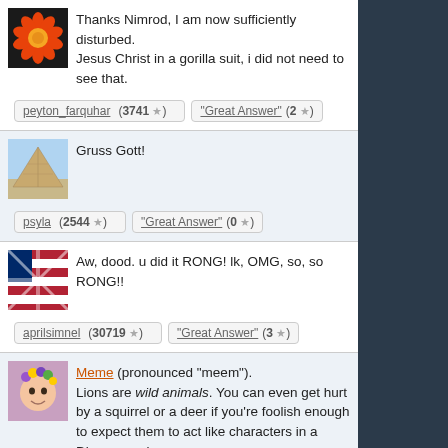Thanks Nimrod, I am now sufficiently disturbed. Jesus Christ in a gorilla suit, i did not need to see that.
peyton_farquhar (3741 ★)  "Great Answer" (2 ★)
Gruss Gott!
psyla (2544 ★)  "Great Answer" (0 ★)
Aw, dood. u did it RONG! lk, OMG, so, so RONG!!
aprilsimnel (30719 ★)  "Great Answer" (3 ★)
Meme (pronounced "meem"). Lions are wild animals. You can even get hurt by a squirrel or a deer if you're foolish enough to expect them to act like characters in a Disney movie.
Jeruba (53128 ★)  "Great Answer" (3 ★)